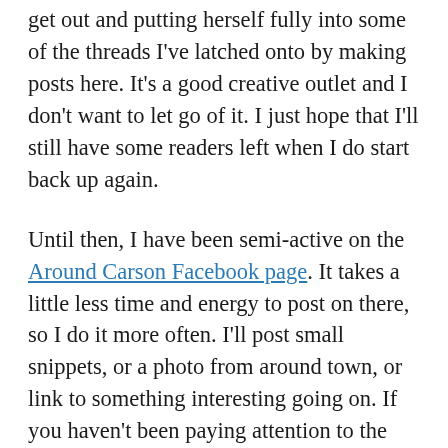get out and putting herself fully into some of the threads I've latched onto by making posts here. It's a good creative outlet and I don't want to let go of it. I just hope that I'll still have some readers left when I do start back up again.
Until then, I have been semi-active on the Around Carson Facebook page. It takes a little less time and energy to post on there, so I do it more often. I'll post small snippets, or a photo from around town, or link to something interesting going on. If you haven't been paying attention to the Facebook page, you should check it out.